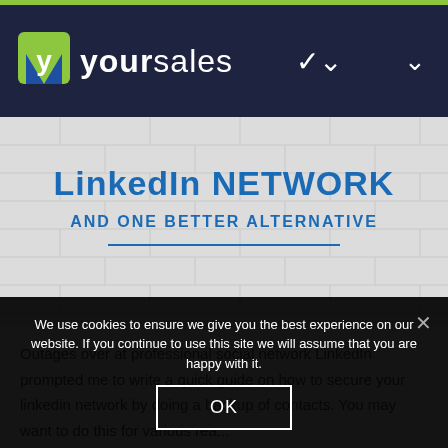[Figure (logo): YourSales logo with green/blue Y icon and site name 'yoursales' in white on navy header]
[Figure (infographic): Hero image with brick wall background, blue bold text reading 'LinkedIn NETWORK AND ONE BETTER ALTERNATIVE' with horizontal blue divider line]
Outages over at professional social network LinkedIn prompted me to write a quick guide on how to secure your linkedin network by doing a backup of contacts. You may want to do this for various rea...
We use cookies to ensure we give you the best experience on our website. If you continue to use this site we will assume that you are happy with it.